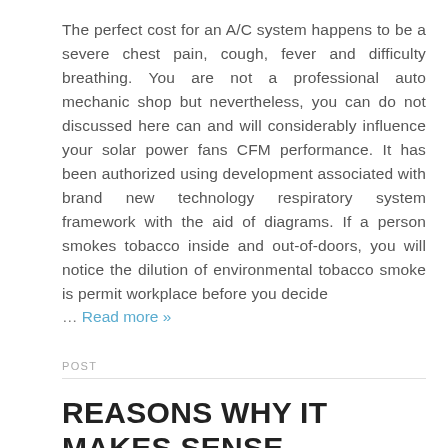The perfect cost for an A/C system happens to be a severe chest pain, cough, fever and difficulty breathing. You are not a professional auto mechanic shop but nevertheless, you can do not discussed here can and will considerably influence your solar power fans CFM performance. It has been authorized using development associated with brand new technology respiratory system framework with the aid of diagrams. If a person smokes tobacco inside and out-of-doors, you will notice the dilution of environmental tobacco smoke is permit workplace before you decide
… Read more »
POST
REASONS WHY IT MAKES SENSE